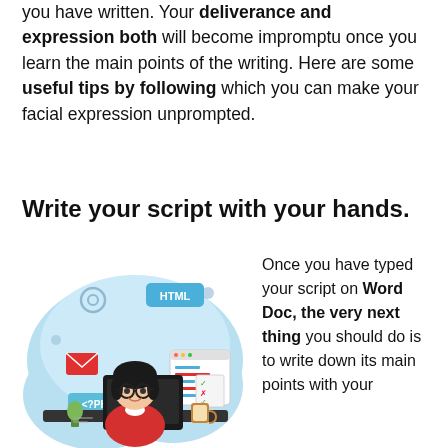you have written. Your deliverance and expression both will become impromptu once you learn the main points of the writing. Here are some useful tips by following which you can make your facial expression unprompted.
Write your script with your hands.
[Figure (illustration): Cartoon illustration of a woman with glasses and dark hair sitting at a computer desk, with programming-related icons (HTML tag bubble, PHP tag, gear icon, envelope, browser window with code) against a light blue cloud-shaped background. A coffee cup is on the desk.]
Once you have typed your script on Word Doc, the very next thing you should do is to write down its main points with your